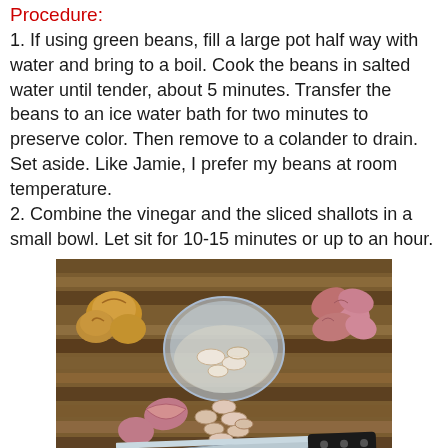Procedure:
1. If using green beans, fill a large pot half way with water and bring to a boil. Cook the beans in salted water until tender, about 5 minutes. Transfer the beans to an ice water bath for two minutes to preserve color. Then remove to a colander to drain. Set aside. Like Jamie, I prefer my beans at room temperature.
2. Combine the vinegar and the sliced shallots in a small bowl. Let sit for 10-15 minutes or up to an hour.
[Figure (photo): Shallots whole and sliced on a wooden cutting board with a glass bowl of shallots soaking in vinegar and a chef's knife]
3. When ready to make the dressing, remove 1/4 cup vinegar from the shallots. Gently squeeze excess vinegar